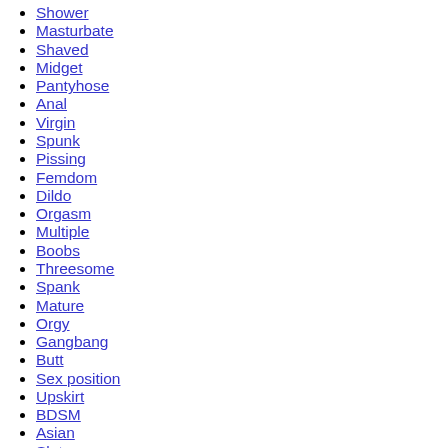Shower
Masturbate
Shaved
Midget
Pantyhose
Anal
Virgin
Spunk
Pissing
Femdom
Dildo
Orgasm
Multiple
Boobs
Threesome
Spank
Mature
Orgy
Gangbang
Butt
Sex position
Upskirt
BDSM
Asian
Slut